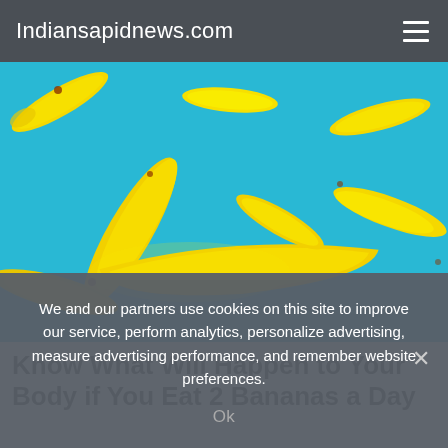Indiansapidnews.com
[Figure (photo): Multiple yellow bananas scattered and floating against a bright cyan/turquoise background, arranged in various orientations.]
Know What Will Happen to Your Body if You Eat 2 Bananas a Day
We and our partners use cookies on this site to improve our service, perform analytics, personalize advertising, measure advertising performance, and remember website preferences.
Ok